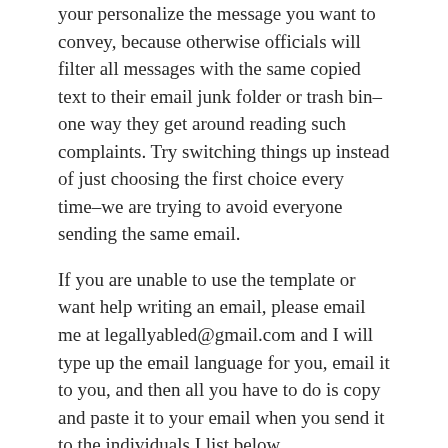your personalize the message you want to convey, because otherwise officials will filter all messages with the same copied text to their email junk folder or trash bin–one way they get around reading such complaints. Try switching things up instead of just choosing the first choice every time–we are trying to avoid everyone sending the same email.
If you are unable to use the template or want help writing an email, please email me at legallyabled@gmail.com and I will type up the email language for you, email it to you, and then all you have to do is copy and paste it to your email when you send it to the individuals I list below.
Here is the template (you can choose which sentences and wordings you'd like to use):
My name is [enter your name here]. I am a person